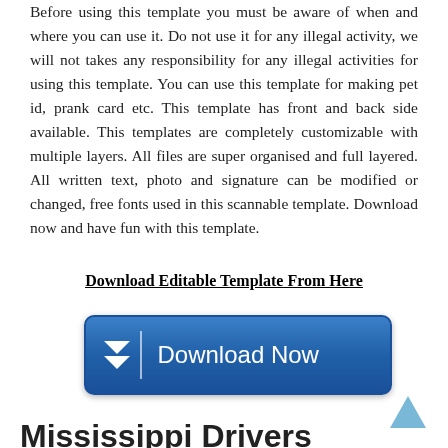Before using this template you must be aware of when and where you can use it. Do not use it for any illegal activity, we will not takes any responsibility for any illegal activities for using this template. You can use this template for making pet id, prank card etc. This template has front and back side available. This templates are completely customizable with multiple layers. All files are super organised and full layered. All written text, photo and signature can be modified or changed, free fonts used in this scannable template. Download now and have fun with this template.
Download Editable Template From Here
[Figure (other): Blue download button with chevron/arrow icon and text 'Download Now']
[Figure (other): Light blue upward-pointing chevron arrow icon (scroll to top)]
Mississippi Drivers